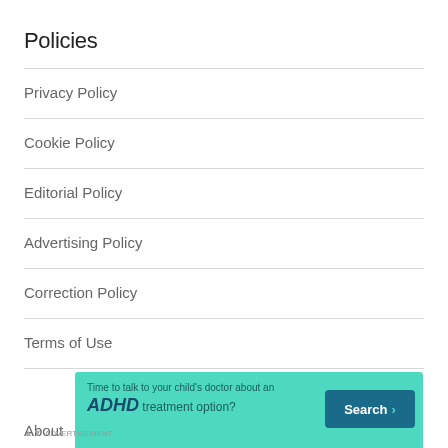Policies
Privacy Policy
Cookie Policy
Editorial Policy
Advertising Policy
Correction Policy
Terms of Use
[Figure (infographic): Advertisement banner with teal background: 'Time to talk to your child's doctor about an ADHD treatment option?' with a Search button. S42012 08/18]
About
ADVERTISEMENT